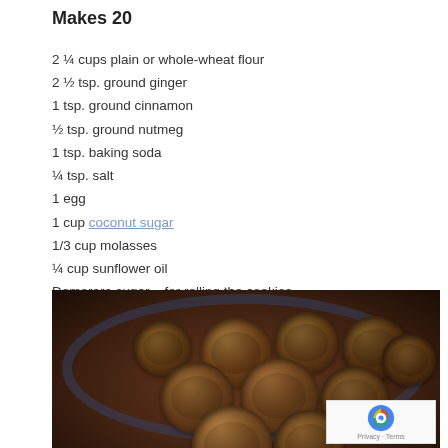Makes 20
2 ¼ cups plain or whole-wheat flour
2 ½ tsp. ground ginger
1 tsp. ground cinnamon
½ tsp. ground nutmeg
1 tsp. baking soda
¼ tsp. salt
1 egg
1 cup coconut sugar
1/3 cup molasses
¼ cup sunflower oil
Demerara sugar – for rolling the cookies
[Figure (photo): A plate of round sugar-rolled ginger cookies piled on a blue and white decorative plate, photographed from above in dark moody style]